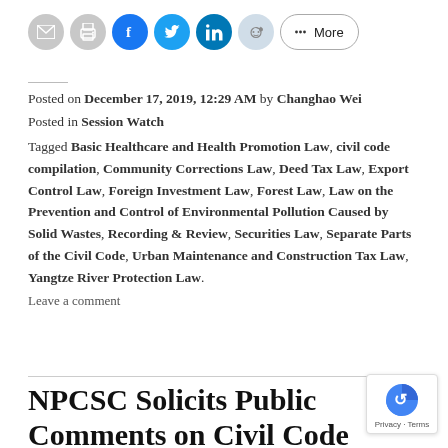[Figure (other): Social share button bar with email, print, Facebook, Twitter, LinkedIn, Reddit icons and More button]
Posted on December 17, 2019, 12:29 AM by Changhao Wei
Posted in Session Watch
Tagged Basic Healthcare and Health Promotion Law, civil code compilation, Community Corrections Law, Deed Tax Law, Export Control Law, Foreign Investment Law, Forest Law, Law on the Prevention and Control of Environmental Pollution Caused by Solid Wastes, Recording & Review, Securities Law, Separate Parts of the Civil Code, Urban Maintenance and Construction Tax Law, Yangtze River Protection Law.
Leave a comment
NPCSC Solicits Public Comments on Civil Code